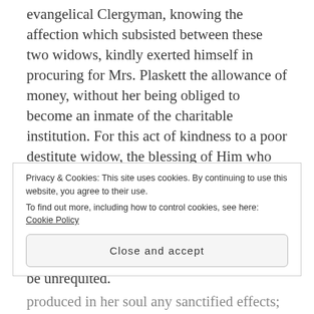evangelical Clergyman, knowing the affection which subsisted between these two widows, kindly exerted himself in procuring for Mrs. Plaskett the allowance of money, without her being obliged to become an inmate of the charitable institution. For this act of kindness to a poor destitute widow, the blessing of Him who binds up the broken in heart will, doubtless, rest upon this worthy Clergyman, in that day when every man shall receive his reward; and when benevolence to the amount only of a cup of cold water shall not be unrequited.
Privacy & Cookies: This site uses cookies. By continuing to use this website, you agree to their use. To find out more, including how to control cookies, see here: Cookie Policy
Close and accept
produced in her soul any sanctified effects; she